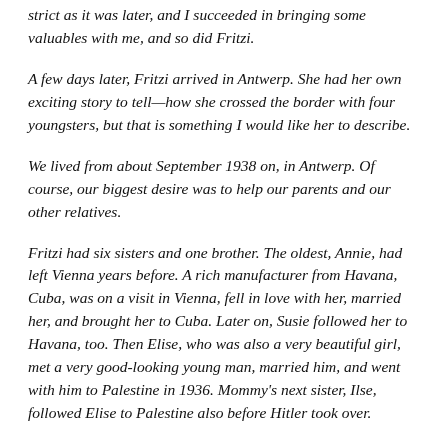strict as it was later, and I succeeded in bringing some valuables with me, and so did Fritzi.
A few days later, Fritzi arrived in Antwerp. She had her own exciting story to tell—how she crossed the border with four youngsters, but that is something I would like her to describe.
We lived from about September 1938 on, in Antwerp. Of course, our biggest desire was to help our parents and our other relatives.
Fritzi had six sisters and one brother. The oldest, Annie, had left Vienna years before. A rich manufacturer from Havana, Cuba, was on a visit in Vienna, fell in love with her, married her, and brought her to Cuba. Later on, Susie followed her to Havana, too. Then Elise, who was also a very beautiful girl, met a very good-looking young man, married him, and went with him to Palestine in 1936. Mommy's next sister, Ilse, followed Elise to Palestine also before Hitler took over.